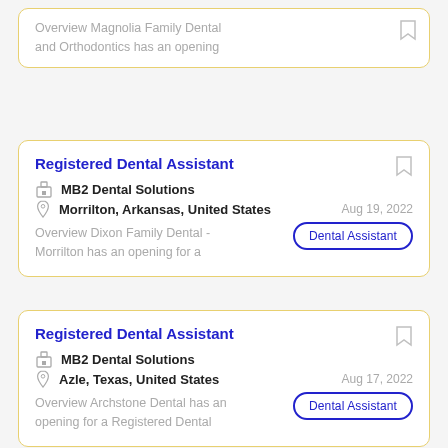Overview Magnolia Family Dental and Orthodontics has an opening
Registered Dental Assistant
MB2 Dental Solutions
Morrilton, Arkansas, United States
Aug 19, 2022
Dental Assistant
Overview Dixon Family Dental - Morrilton has an opening for a
Registered Dental Assistant
MB2 Dental Solutions
Azle, Texas, United States
Aug 17, 2022
Dental Assistant
Overview Archstone Dental has an opening for a Registered Dental